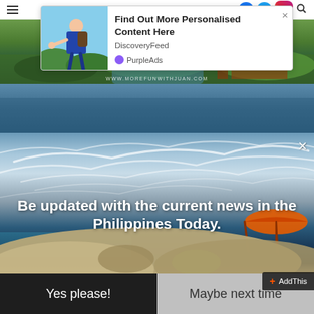[Figure (screenshot): Mobile website screenshot showing navigation bar with hamburger menu, social icons, Instagram and search icons]
[Figure (screenshot): Advertisement banner: hiker with backpack reaching out hand, 'Find Out More Personalised Content Here', DiscoveryFeed, PurpleAds]
Find Out More Personalised Content Here
DiscoveryFeed
PurpleAds
[Figure (photo): Green forest/nature landscape photo strip with URL www.morefunwithjuan.com]
[Figure (photo): Beach/sky scene modal popup with wispy clouds and orange beach umbrella]
Be updated with the current news in the Philippines Today.
Yes please!
Maybe next time
AddThis